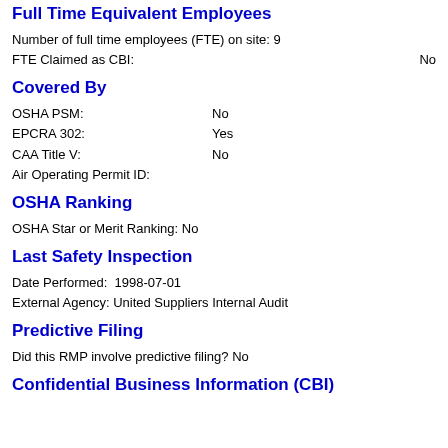Full Time Equivalent Employees
Number of full time employees (FTE) on site: 9
FTE Claimed as CBI: No
Covered By
OSHA PSM: No
EPCRA 302: Yes
CAA Title V: No
Air Operating Permit ID:
OSHA Ranking
OSHA Star or Merit Ranking: No
Last Safety Inspection
Date Performed: 1998-07-01
External Agency: United Suppliers Internal Audit
Predictive Filing
Did this RMP involve predictive filing? No
Confidential Business Information (CBI)